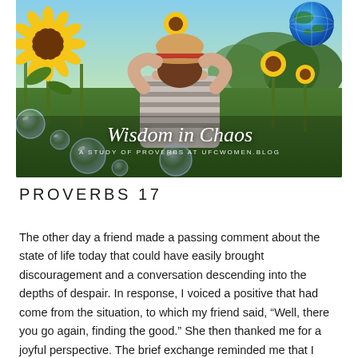[Figure (photo): A woman in a striped off-shoulder top and a tan hat with a red band stands with her back to the camera in a sunflower field, arms raised holding her hat. Soap bubbles float around her. In the upper right, a globe/earth image is visible. Overlaid text reads 'Wisdom in Chaos' in white script with subtitle 'A STUDY OF PROVERBS AT UFCWOMEN.BLOG'.]
PROVERBS 17
The other day a friend made a passing comment about the state of life today that could have easily brought discouragement and a conversation descending into the depths of despair. In response, I voiced a positive that had come from the situation, to which my friend said, “Well, there you go again, finding the good.” She then thanked me for a joyful perspective. The brief exchange reminded me that I